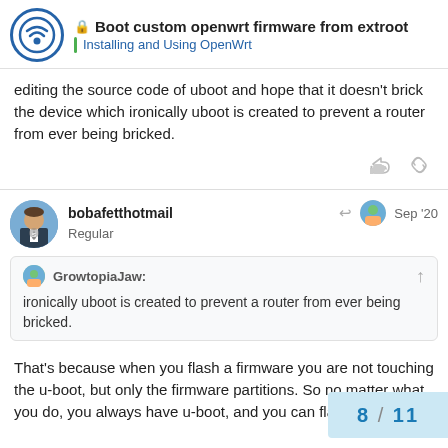Boot custom openwrt firmware from extroot | Installing and Using OpenWrt
editing the source code of uboot and hope that it doesn't brick the device which ironically uboot is created to prevent a router from ever being bricked.
bobafetthotmail Regular  Sep '20
GrowtopiaJaw: ironically uboot is created to prevent a router from ever being bricked.
That's because when you flash a firmware you are not touching the u-boot, but only the firmware partitions. So no matter what you do, you always have u-boot, and you can flash firmware.
8 / 11